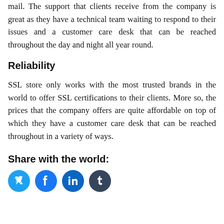mail. The support that clients receive from the company is great as they have a technical team waiting to respond to their issues and a customer care desk that can be reached throughout the day and night all year round.
Reliability
SSL store only works with the most trusted brands in the world to offer SSL certifications to their clients. More so, the prices that the company offers are quite affordable on top of which they have a customer care desk that can be reached throughout in a variety of ways.
Share with the world:
[Figure (other): Social media share icons: Twitter (blue), Facebook (blue), LinkedIn (blue), Tumblr (dark)]